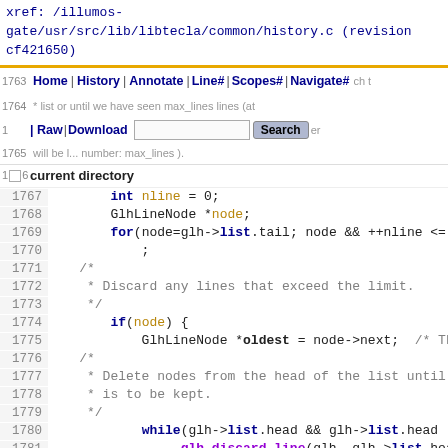xref: /illumos-gate/usr/src/lib/libtecla/common/history.c (revision cf421650)
[Figure (screenshot): Navigation bar with Home, History, Annotate, Line#, Scopes#, Navigate# links, Raw, Download, Search bar]
current directory
1767    int nline = 0;
1768    GlhLineNode *node;
1769    for(node=glh->list.tail; node && ++nline <= ma
1770        ;
1771    /*
1772     * Discard any lines that exceed the limit.
1773     */
1774    if(node) {
1775        GlhLineNode *oldest = node->next;  /* The ol
1776    /*
1777     * Delete nodes from the head of the list until we
1778     * is to be kept.
1779     */
1780        while(glh->list.head && glh->list.head != ol
1781            _glh_discard_line(glh, glh->list.head);
1782        };
1783    };
1784    /*
1785     * Record the new limit.
1786     */
1787    glh->max_lines = max_lines;
1788    return;